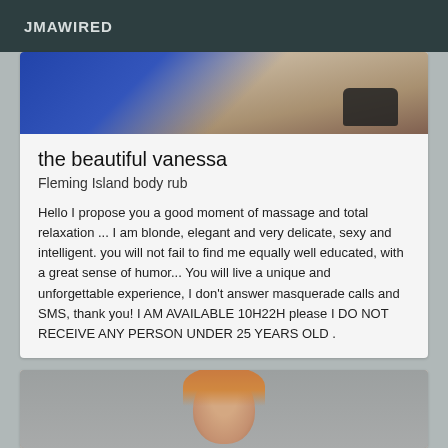JMAWIRED
[Figure (photo): Partial photo showing blue clothing and decorated shoes on wooden floor]
the beautiful vanessa
Fleming Island body rub
Hello I propose you a good moment of massage and total relaxation ... I am blonde, elegant and very delicate, sexy and intelligent. you will not fail to find me equally well educated, with a great sense of humor... You will live a unique and unforgettable experience, I don't answer masquerade calls and SMS, thank you! I AM AVAILABLE 10H22H please I DO NOT RECEIVE ANY PERSON UNDER 25 YEARS OLD .
[Figure (photo): Photo of a person with reddish-blonde hair, cropped at the top of the frame]